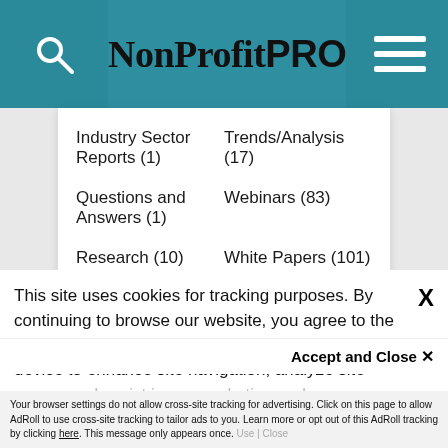NonProfit PRO
Industry Sector Reports (1)
Trends/Analysis (17)
Questions and Answers (1)
Webinars (83)
Research (10)
White Papers (101)
Have great content to share?
[Figure (photo): Green/teal textured background image, partially visible]
This site uses cookies for tracking purposes. By continuing to browse our website, you agree to the storing of first- and third-party cookies on your device to enhance site navigation, analyze site usage, and assist in our marketing and
Accept and Close ✕
Your browser settings do not allow cross-site tracking for advertising. Click on this page to allow AdRoll to use cross-site tracking to tailor ads to you. Learn more or opt out of this AdRoll tracking by clicking here. This message only appears once.